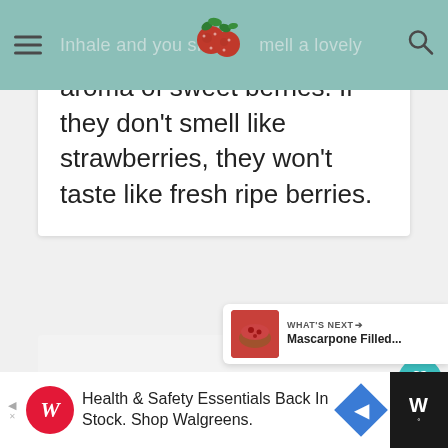Inhale and you should smell a lovely
aroma of sweet berries. If they don't smell like strawberries, they won't taste like fresh ripe berries.
[Figure (screenshot): Like/heart button showing 1.5K likes and a share button]
[Figure (screenshot): What's Next banner showing Mascarpone Filled... with food thumbnail]
[Figure (screenshot): Advertisement bar: Health & Safety Essentials Back In Stock. Shop Walgreens.]